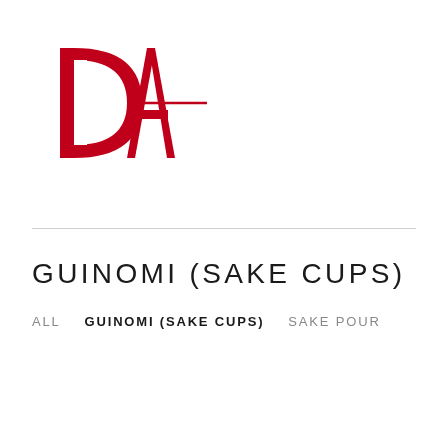[Figure (logo): Daiichi Arts, Ltd logo — stylized red D and A letters with a horizontal line, red text 'DAIICHI ARTS, LTD' below]
GUINOMI (SAKE CUPS)
ALL   GUINOMI (SAKE CUPS)   SAKE POUR